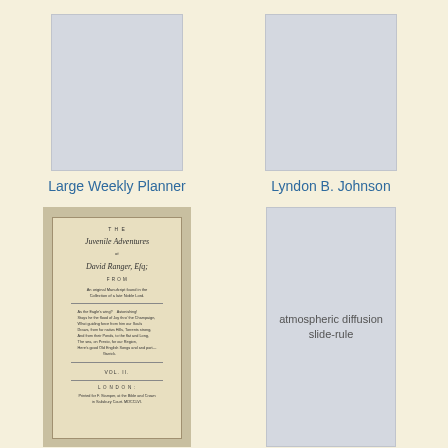[Figure (illustration): Gray placeholder rectangle for Large Weekly Planner book cover]
Large Weekly Planner
[Figure (illustration): Gray placeholder rectangle for Lyndon B. Johnson book cover]
Lyndon B. Johnson
[Figure (photo): Photo of the title page of The Juvenile Adventures of David Ranger, Esq; an old book with decorative typography and text, London, Vol. II]
The juvenile adventures of David Ranger, Esq
[Figure (illustration): Gray placeholder rectangle for atmospheric diffusion slide-rule with text label inside]
atmospheric diffusion slide-rule
[Figure (illustration): Partial gray placeholder at bottom left]
[Figure (illustration): Partial gray placeholder at bottom right]